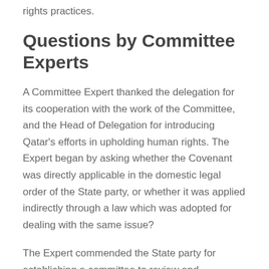rights practices.
Questions by Committee Experts
A Committee Expert thanked the delegation for its cooperation with the work of the Committee, and the Head of Delegation for introducing Qatar’s efforts in upholding human rights. The Expert began by asking whether the Covenant was directly applicable in the domestic legal order of the State party, or whether it was applied indirectly through a law which was adopted for dealing with the same issue?
The Expert commended the State party for establishing a committee to review and